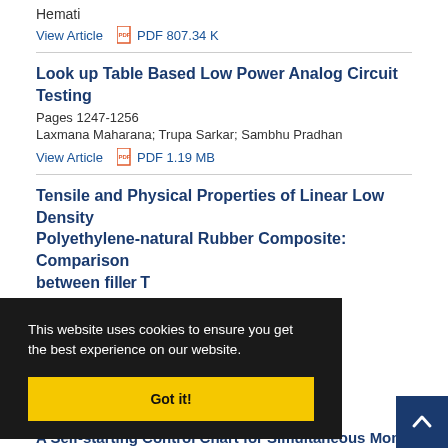Hemati
View Article   PDF 807.34 K
Look up Table Based Low Power Analog Circuit Testing
Pages 1247-1256
Laxmana Maharana; Trupa Sarkar; Sambhu Pradhan
View Article   PDF 1.19 MB
Tensile and Physical Properties of Linear Low Density Polyethylene-natural Rubber Composite: Comparison between...
...Japar Sahari;
This website uses cookies to ensure you get the best experience on our website.
Got it!
A Self-starting Control Chart for Simultaneous Monito...